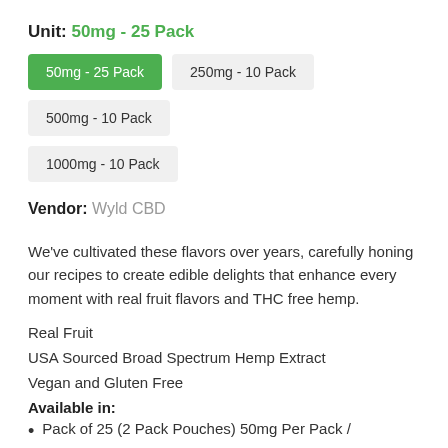Unit: 50mg - 25 Pack
50mg - 25 Pack | 250mg - 10 Pack | 500mg - 10 Pack | 1000mg - 10 Pack
Vendor: Wyld CBD
We've cultivated these flavors over years, carefully honing our recipes to create edible delights that enhance every moment with real fruit flavors and THC free hemp.
Real Fruit
USA Sourced Broad Spectrum Hemp Extract
Vegan and Gluten Free
Available in:
Pack of 25 (2 Pack Pouches) 50mg Per Pack /